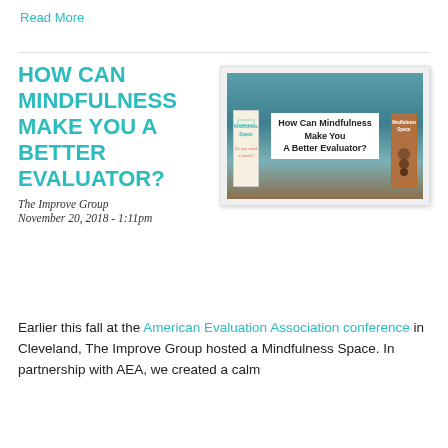Read More
HOW CAN MINDFULNESS MAKE YOU A BETTER EVALUATOR?
[Figure (photo): Photo of mindfulness space display banners at the American Evaluation Association conference, including a sign that reads 'How Can Mindfulness Make You A Better Evaluator?']
The Improve Group
November 20, 2018 - 1:11pm
Earlier this fall at the American Evaluation Association conference in Cleveland, The Improve Group hosted a Mindfulness Space. In partnership with AEA, we created a calm